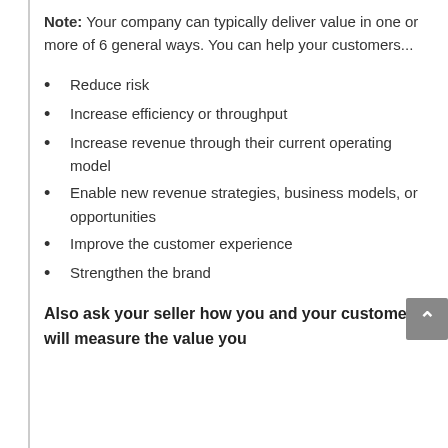Note: Your company can typically deliver value in one or more of 6 general ways. You can help your customers...
Reduce risk
Increase efficiency or throughput
Increase revenue through their current operating model
Enable new revenue strategies, business models, or opportunities
Improve the customer experience
Strengthen the brand
Also ask your seller how you and your customer will measure the value you